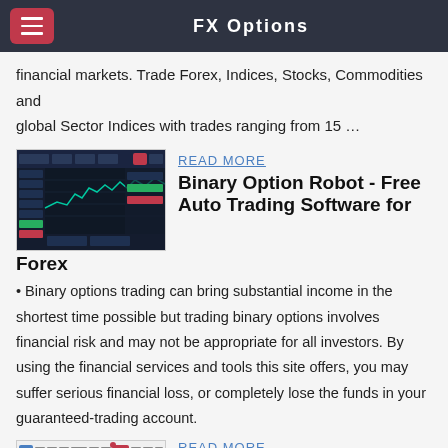FX Options
financial markets. Trade Forex, Indices, Stocks, Commodities and global Sector Indices with trades ranging from 15 …
[Figure (screenshot): Screenshot of a trading platform interface showing forex charts and trading tools with dark theme]
READ MORE
Binary Option Robot - Free Auto Trading Software for Forex
• Binary options trading can bring substantial income in the shortest time possible but trading binary options involves financial risk and may not be appropriate for all investors. By using the financial services and tools this site offers, you may suffer serious financial loss, or completely lose the funds in your guaranteed-trading account.
[Figure (screenshot): Screenshot of a trading software toolbar/interface with icons and controls]
READ MORE